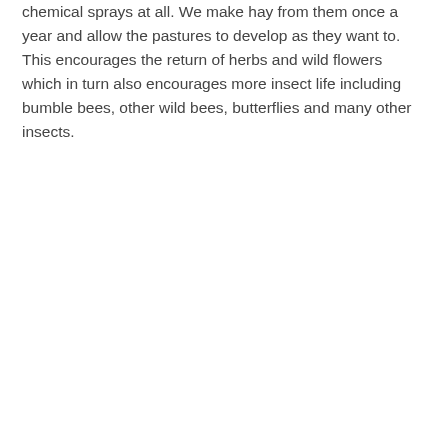chemical sprays at all. We make hay from them once a year and allow the pastures to develop as they want to. This encourages the return of herbs and wild flowers which in turn also encourages more insect life including bumble bees, other wild bees, butterflies and many other insects.